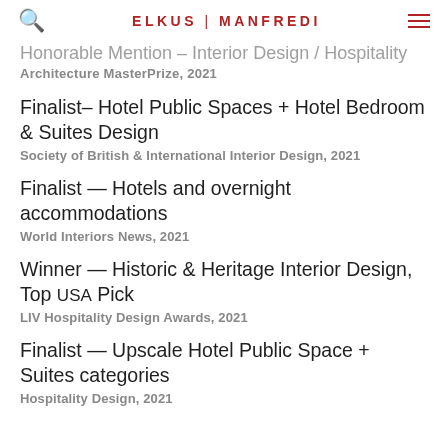ELKUS | MANFREDI
Honorable Mention – Interior Design / Hospitality
Architecture MasterPrize, 2021
Finalist– Hotel Public Spaces + Hotel Bedroom & Suites Design
Society of British & International Interior Design, 2021
Finalist — Hotels and overnight accommodations
World Interiors News, 2021
Winner — Historic & Heritage Interior Design, Top USA Pick
LIV Hospitality Design Awards, 2021
Finalist — Upscale Hotel Public Space + Suites categories
Hospitality Design, 2021